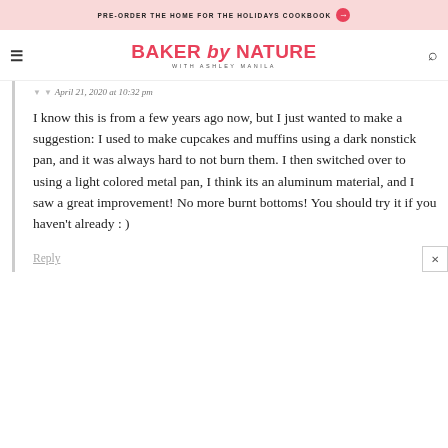PRE-ORDER THE HOME FOR THE HOLIDAYS COOKBOOK →
BAKER by NATURE WITH ASHLEY MANILA
April 21, 2020 at 10:32 pm
I know this is from a few years ago now, but I just wanted to make a suggestion: I used to make cupcakes and muffins using a dark nonstick pan, and it was always hard to not burn them. I then switched over to using a light colored metal pan, I think its an aluminum material, and I saw a great improvement! No more burnt bottoms! You should try it if you haven't already : )
Reply